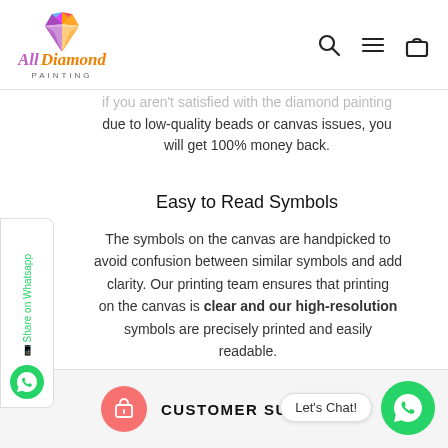[Figure (logo): All Diamond Painting logo with colorful diamond gem icon and stylized text]
If you aren't satisfied with the diamond painting due to low-quality beads or canvas issues, you will get 100% money back.
Easy to Read Symbols
The symbols on the canvas are handpicked to avoid confusion between similar symbols and add clarity. Our printing team ensures that printing on the canvas is clear and our high-resolution symbols are precisely printed and easily readable.
CUSTOMER SUPPORT